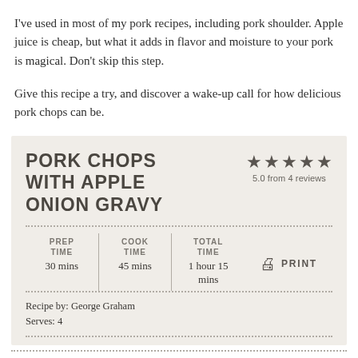I've used in most of my pork recipes, including pork shoulder. Apple juice is cheap, but what it adds in flavor and moisture to your pork is magical. Don't skip this step.
Give this recipe a try, and discover a wake-up call for how delicious pork chops can be.
PORK CHOPS WITH APPLE ONION GRAVY
5.0 from 4 reviews
| PREP TIME | COOK TIME | TOTAL TIME |
| --- | --- | --- |
| 30 mins | 45 mins | 1 hour 15 mins |
Recipe by: George Graham
Serves: 4